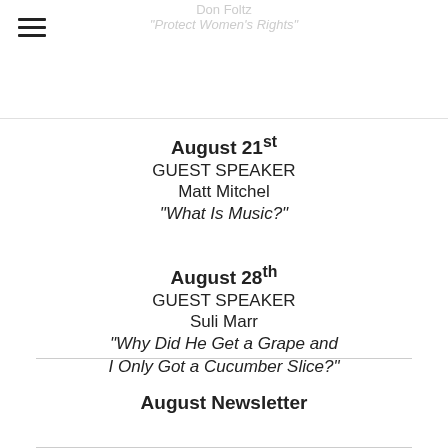Don Foltz
"Protect Women's Rights"
August 21st
GUEST SPEAKER
Matt Mitchel
"What Is Music?"
August 28th
GUEST SPEAKER
Suli Marr
"Why Did He Get a Grape and I Only Got a Cucumber Slice?"
August Newsletter